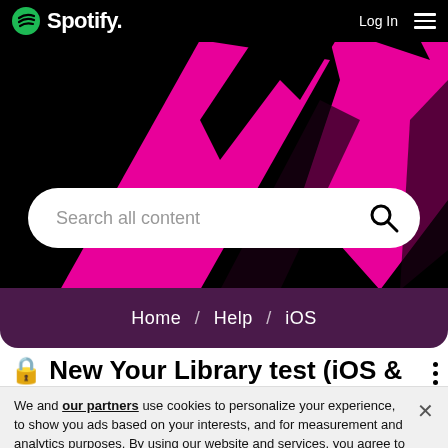[Figure (logo): Spotify logo with circular wave icon and white text 'Spotify.']
Log In  ☰
[Figure (illustration): Hero background with black and magenta/pink abstract shapes]
Search all content
Home / Help / iOS
🔒 New Your Library test (iOS & Android)
We and our partners use cookies to personalize your experience, to show you ads based on your interests, and for measurement and analytics purposes. By using our website and services, you agree to our use of cookies as described in our Cookie Policy.